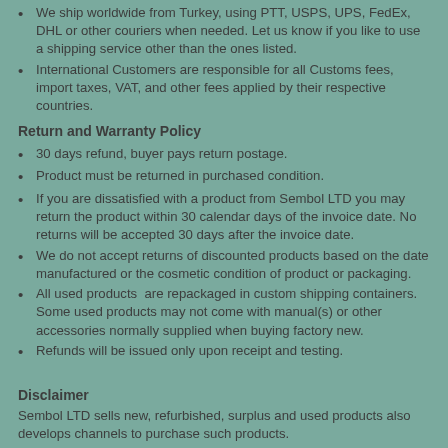We ship worldwide from Turkey, using PTT, USPS, UPS, FedEx, DHL or other couriers when needed. Let us know if you like to use a shipping service other than the ones listed.
International Customers are responsible for all Customs fees, import taxes, VAT, and other fees applied by their respective countries.
Return and Warranty Policy
30 days refund, buyer pays return postage.
Product must be returned in purchased condition.
If you are dissatisfied with a product from Sembol LTD you may return the product within 30 calendar days of the invoice date. No returns will be accepted 30 days after the invoice date.
We do not accept returns of discounted products based on the date manufactured or the cosmetic condition of product or packaging.
All used products  are repackaged in custom shipping containers. Some used products may not come with manual(s) or other accessories normally supplied when buying factory new.
Refunds will be issued only upon receipt and testing.
Disclaimer
Sembol LTD sells new, refurbished, surplus and used products also develops channels to purchase such products.
Sembol LTD is not affiliated with nor an authorized distributor or representative of any manufacturer, brand or product listed. Designated trademarks, brand names and brands appearing herein are the property of their respective owners.